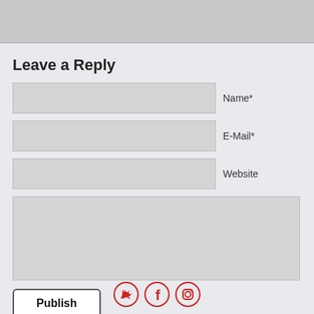[Figure (screenshot): Gray top bar area at the top of the page]
Leave a Reply
Name*
E-Mail*
Website
Publish
[Figure (other): Social media icons: Twitter, Facebook, Instagram in red circles at the bottom]